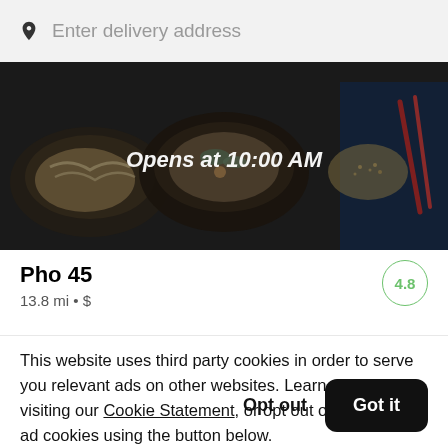Enter delivery address
[Figure (photo): Food delivery app screenshot showing bowls of pho with text overlay 'Opens at 10:00 AM']
Pho 45
13.8 mi • $
4.8
This website uses third party cookies in order to serve you relevant ads on other websites. Learn more by visiting our Cookie Statement, or opt out of third party ad cookies using the button below.
Opt out
Got it